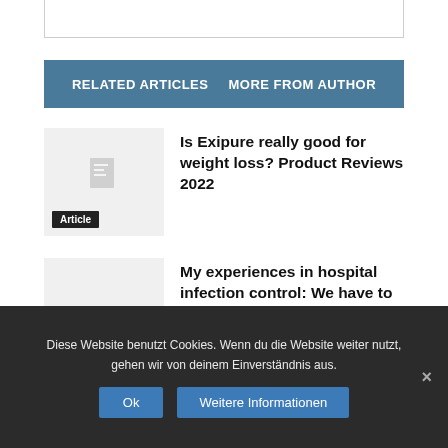[Figure (other): Top border box/panel truncated at top]
RELATED ARTICLES   MORE FROM AUTHOR
[Figure (photo): Article thumbnail placeholder with document icon and Article tag]
Is Exipure really good for weight loss? Product Reviews 2022
[Figure (photo): Article thumbnail placeholder with document icon and Article tag]
My experiences in hospital infection control: We have to learn hospital infection control at the first day of medical education for students, do you...
Diese Website benutzt Cookies. Wenn du die Website weiter nutzt, gehen wir von deinem Einverständnis aus.